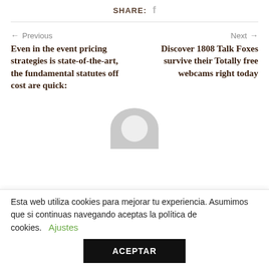SHARE:  f
← Previous
Even in the event pricing strategies is state-of-the-art, the fundamental statutes off cost are quick:
Next →
Discover 1808 Talk Foxes survive their Totally free webcams right today
[Figure (illustration): Grey avatar placeholder silhouette, semicircle/arch shape at bottom of page]
Esta web utiliza cookies para mejorar tu experiencia. Asumimos que si continuas navegando aceptas la política de cookies.   Ajustes
ACEPTAR